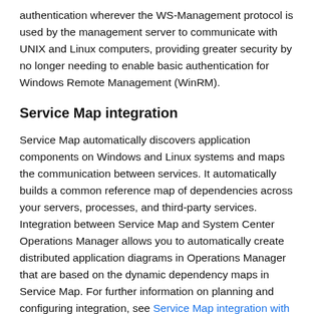authentication wherever the WS-Management protocol is used by the management server to communicate with UNIX and Linux computers, providing greater security by no longer needing to enable basic authentication for Windows Remote Management (WinRM).
Service Map integration
Service Map automatically discovers application components on Windows and Linux systems and maps the communication between services. It automatically builds a common reference map of dependencies across your servers, processes, and third-party services. Integration between Service Map and System Center Operations Manager allows you to automatically create distributed application diagrams in Operations Manager that are based on the dynamic dependency maps in Service Map. For further information on planning and configuring integration, see Service Map integration with System Center Operations